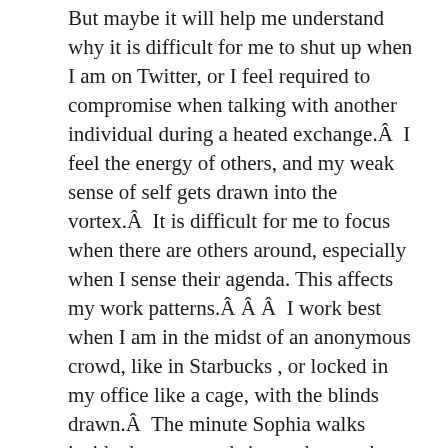But maybe it will help me understand why it is difficult for me to shut up when I am on Twitter, or I feel required to compromise when talking with another individual during a heated exchange.Â  I feel the energy of others, and my weak sense of self gets drawn into the vortex.Â  It is difficult for me to focus when there are others around, especially when I sense their agenda. This affects my work patterns.Â Â Â  I work best when I am in the midst of an anonymous crowd, like in Starbucks , or locked in my office like a cage, with the blinds drawn.Â  The minute Sophia walks inside the room and sits on the couch next to me, my focus turns to mush.Â  I KNOW she is in the room.
After lunch, Karen Miller Maezen asked us to wash the dishes and clean up after lunch.Â  Her latest book is all about the connection between zen and every day chores.Â Â  I wonder if she uses this technique with her children, to get them to clean her home.